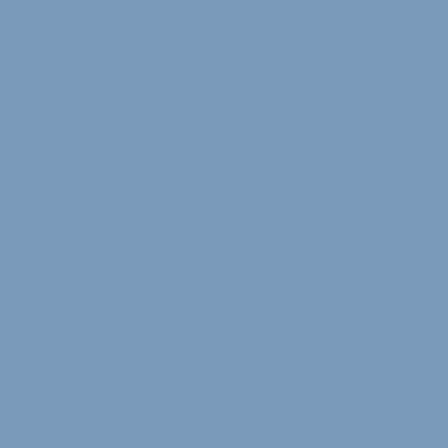it to yourselves.

YOU need to convince them you are responsible because you can't compel them to watch, read or listen to you. You need to convince them that you are worth their time, or they will spend it elsewhere. If they spend it elsewhere, then you are out of a job. As it is, its probably too late anyway. But, we can at least said we tried.

But why did we try? Why bother? It was not to hurt the Press, or Kerry, or because we are mean, "divisive" people. We tried because, believe it or not, we do think Austin Bay had a very good point. We do think a less confrontational or hostile relationship between the government and the press might be a very good thing. We would certainly welcome it, as a matter of fact.

But, a funny thing happened on the way to discussing the problem. The "pro-press" crowd, if I may call it that for convenience, was really receptive to the idea that the administration needed to change its ways. "Yes," they agreed. "Bush and the administration has rolled...